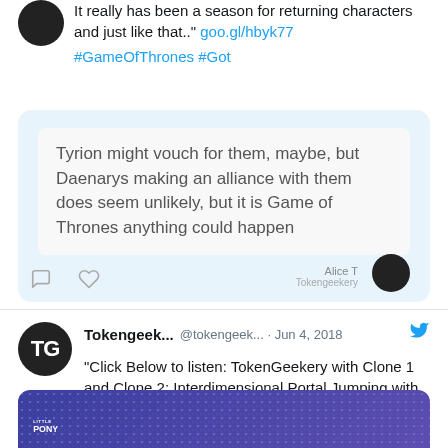It really has been a season for returning characters and just like that.." goo.gl/hbyk77 #GameOfThrones #Got
[Figure (screenshot): Quoted tweet bubble from Alice T / Tokengeekery: 'Tyrion might vouch for them, maybe, but Daenarys making an alliance with them does seem unlikely, but it is Game of Thrones anything could happen']
Tokengeek... @tokengeek... · Jun 4, 2018 "Click Below to listen: TokenGeekery with Clone 1 and Clone 2: Interdimensional Portal Jumping with the..." goo.gl/2CDV7C #Mylittlepony #MLP #Equestriagirls
[Figure (screenshot): Bottom portion of a My Little Pony branded image/card preview, purple with dot pattern]